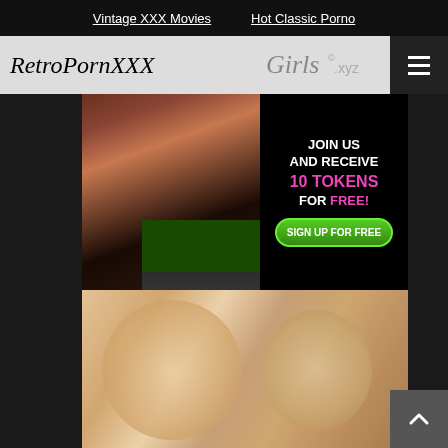Vintage XXX Movies | Hot Classic Porno
RetroPornXXX
[Figure (logo): Girls.xyz logo in italic serif font]
[Figure (photo): Advertisement banner: JOIN US AND RECEIVE 10 TOKENS FOR FREE with SIGN UP FOR FREE button, featuring woman and laptop]
[Figure (photo): Video thumbnail showing two people in close-up, blurred/soft focus retro style]